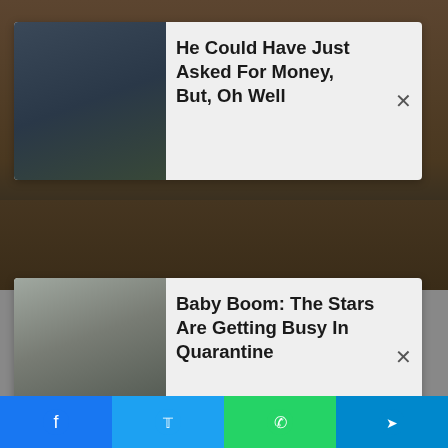[Figure (screenshot): Dark earthy background image visible in the upper and middle portions of the page]
He Could Have Just Asked For Money, But, Oh Well
Baby Boom: The Stars Are Getting Busy In Quarantine
The finale was originally slated to run 90 minutes. An unfortunate brush fire broke out at the Fox Ranch set in Malibu Creek State Park. The blaze was filmed and worked into the script, padding out the show with an extra 30 minutes. Considering 30-second commercial blocks for the February 28 airing were selling for $450,000, the network likely had no
[Figure (infographic): Social sharing bar at the bottom with Facebook, Twitter, WhatsApp, and Telegram buttons]